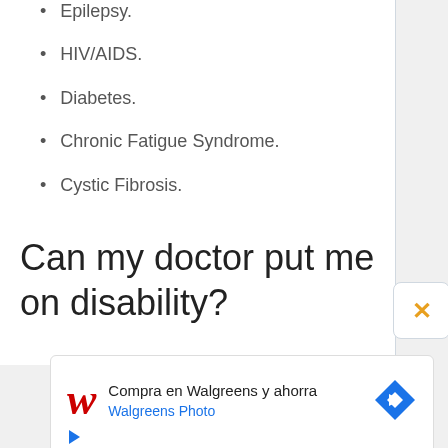Epilepsy.
HIV/AIDS.
Diabetes.
Chronic Fatigue Syndrome.
Cystic Fibrosis.
Can my doctor put me on disability?
[Figure (screenshot): Walgreens advertisement: Compra en Walgreens y ahorra, Walgreens Photo, with Walgreens logo and navigation icon]